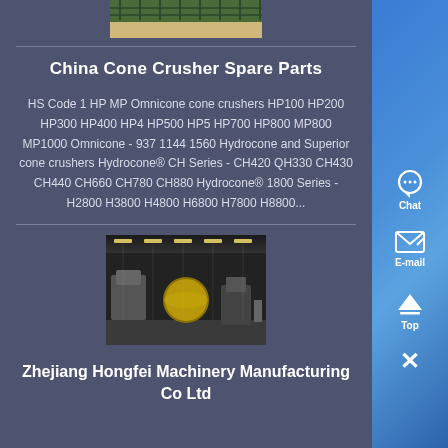[Figure (photo): Outdoor photo showing machinery or industrial equipment with green fencing, partially cropped at top]
China Cone Crusher Spare Parts
HS Code 1 HP MP Omnicone cone crushers HP100 HP200 HP300 HP400 HP4 HP500 HP5 HP700 HP800 MP800 MP1000 Omnicone - 937 1144 1560 Hydrocone and Superior cone crushers Hydrocone® CH Series - CH420 QH330 CH430 CH440 CH660 CH780 CH880 Hydrocone® 1800 Series - H2800 H3800 H4800 H6800 H7800 H8800...
[Figure (photo): Interior of industrial manufacturing facility showing machinery and equipment under overhead lighting]
Zhejiang Hongfei Machinery Manufacturing Co Ltd